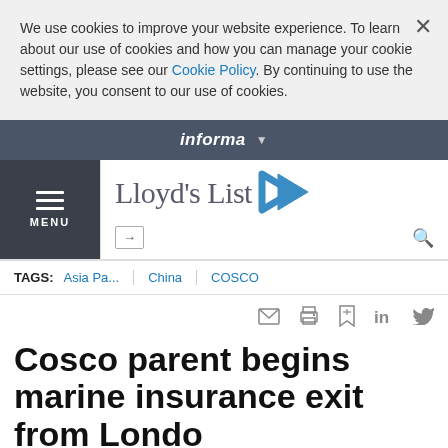We use cookies to improve your website experience. To learn about our use of cookies and how you can manage your cookie settings, please see our Cookie Policy. By continuing to use the website, you consent to our use of cookies.
informa
[Figure (logo): Lloyd's List logo with blue angular arrow icon]
TAGS: Asia Pa... | China | COSCO
Cosco parent begins marine insurance exit from London